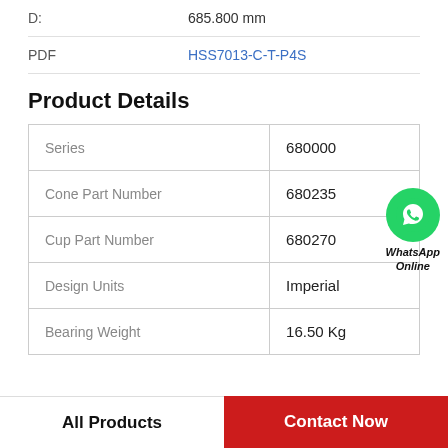D: 685.800 mm
PDF HSS7013-C-T-P4S
Product Details
|  |  |
| --- | --- |
| Series | 680000 |
| Cone Part Number | 680235 |
| Cup Part Number | 680270 |
| Design Units | Imperial |
| Bearing Weight | 16.50 Kg |
[Figure (logo): WhatsApp Online badge with green phone icon circle]
All Products
Contact Now